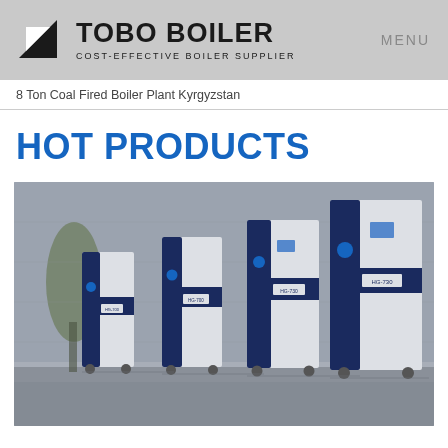TOBO BOILER — COST-EFFECTIVE BOILER SUPPLIER | MENU
8 Ton Coal Fired Boiler Plant Kyrgyzstan
HOT PRODUCTS
[Figure (photo): Four navy blue and white industrial boiler units of increasing size displayed in a showroom setting with a grey tile wall and plant in the background. Units are labeled HG-700, HG-700, HG-730 from left to right.]